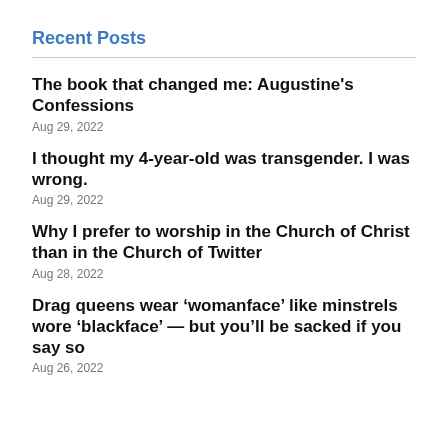Recent Posts
The book that changed me: Augustine’s Confessions
Aug 29, 2022
I thought my 4-year-old was transgender. I was wrong.
Aug 29, 2022
Why I prefer to worship in the Church of Christ than in the Church of Twitter
Aug 28, 2022
Drag queens wear ‘womanface’ like minstrels wore ‘blackface’ — but you’ll be sacked if you say so
Aug 26, 2022